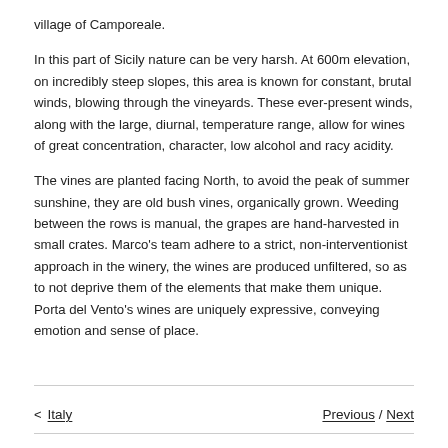village of Camporeale.
In this part of Sicily nature can be very harsh. At 600m elevation, on incredibly steep slopes, this area is known for constant, brutal winds, blowing through the vineyards. These ever-present winds, along with the large, diurnal, temperature range, allow for wines of great concentration, character, low alcohol and racy acidity.
The vines are planted facing North, to avoid the peak of summer sunshine, they are old bush vines, organically grown. Weeding between the rows is manual, the grapes are hand-harvested in small crates. Marco's team adhere to a strict, non-interventionist approach in the winery, the wines are produced unfiltered, so as to not deprive them of the elements that make them unique. Porta del Vento's wines are uniquely expressive, conveying emotion and sense of place.
< Italy  Previous / Next